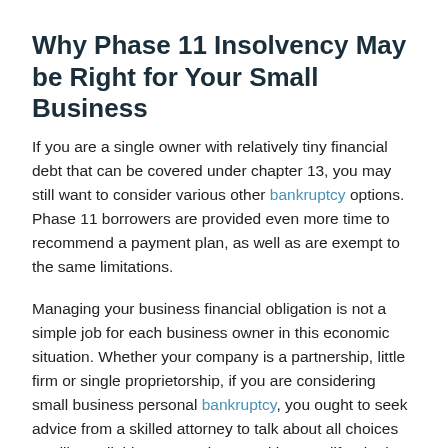Why Phase 11 Insolvency May be Right for Your Small Business
If you are a single owner with relatively tiny financial debt that can be covered under chapter 13, you may still want to consider various other bankruptcy options. Phase 11 borrowers are provided even more time to recommend a payment plan, as well as are exempt to the same limitations.
Managing your business financial obligation is not a simple job for each business owner in this economic situation. Whether your company is a partnership, little firm or single proprietorship, if you are considering small business personal bankruptcy, you ought to seek advice from a skilled attorney to talk about all choices readily available to you prior to making any life-altering decisions.